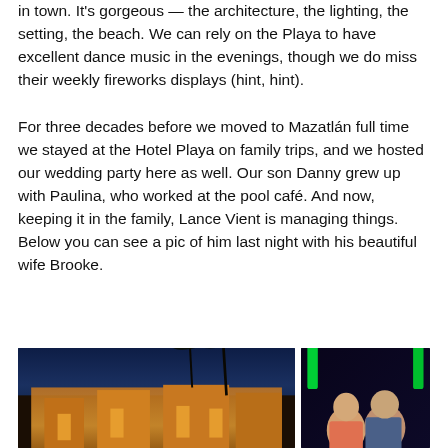in town. It's gorgeous — the architecture, the lighting, the setting, the beach. We can rely on the Playa to have excellent dance music in the evenings, though we do miss their weekly fireworks displays (hint, hint).
For three decades before we moved to Mazatlán full time we stayed at the Hotel Playa on family trips, and we hosted our wedding party here as well. Our son Danny grew up with Paulina, who worked at the pool café. And now, keeping it in the family, Lance Vient is managing things. Below you can see a pic of him last night with his beautiful wife Brooke.
[Figure (photo): Night photo of Hotel Playa illuminated with warm orange/yellow lights, palm trees visible, blue twilight sky in background]
[Figure (photo): Photo of a couple (Lance Vient and his wife Brooke) at a nighttime event, with green lighting structures visible in the background]